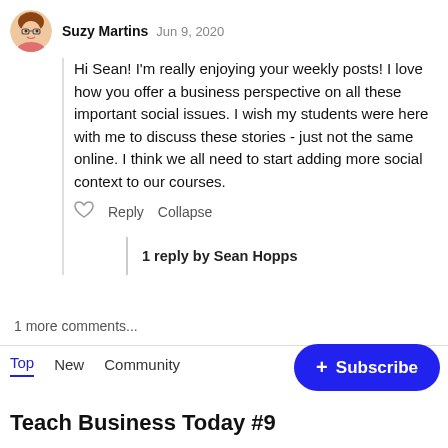Suzy Martins   Jun 9, 2020
Hi Sean! I'm really enjoying your weekly posts! I love how you offer a business perspective on all these important social issues. I wish my students were here with me to discuss these stories - just not the same online. I think we all need to start adding more social context to our courses.
Reply   Collapse
1 reply by Sean Hopps
1 more comments...
Top   New   Community
Teach Business Today #9